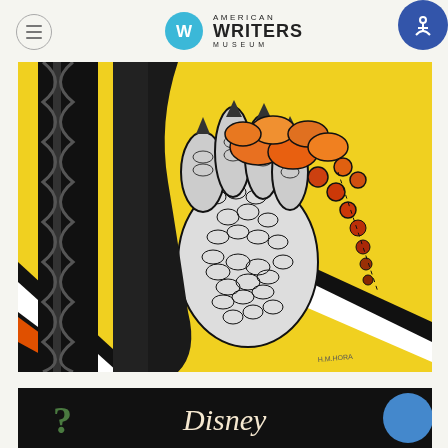American Writers Museum
[Figure (illustration): Book cover artwork showing a large scaly claw/hand holding orange and red spherical fruits or berries against a yellow background with black and white diagonal stripes. Black ink illustration style with orange/red color accents. Small signature visible at bottom right reading H.M. HORA or similar.]
[Figure (screenshot): Partial screenshot showing bottom of page with black background, a green question mark symbol on the left, a stylized Disney logo in white/cream in the center, and partial blue circular element on the right.]